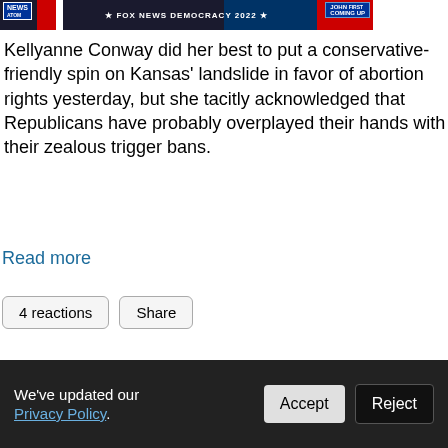[Figure (screenshot): Fox News Democracy 2022 broadcast banner with red, white and blue graphics and 'Coming Up' label]
Kellyanne Conway did her best to put a conservative-friendly spin on Kansas' landslide in favor of abortion rights yesterday, but she tacitly acknowledged that Republicans have probably overplayed their hands with their zealous trigger bans.
Read more
4 reactions   Share
← Previous  1  2  3  4  5  6  7  8  9  ...  1228  1229  Next →
We've updated our Privacy Policy.